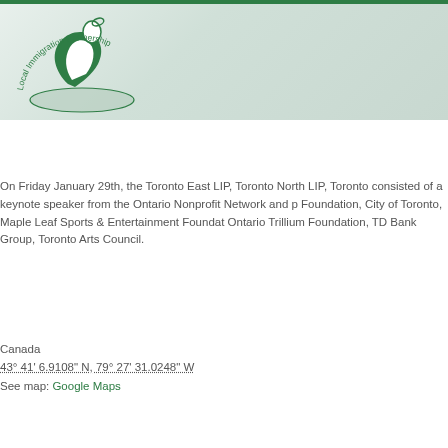[Figure (logo): Local Immigration Partnership logo — green figure with bird shape and circular text 'Local Immigration Partnership']
On Friday January 29th, the Toronto East LIP, Toronto North LIP, Toronto consisted of a keynote speaker from the Ontario Nonprofit Network and p Foundation, City of Toronto, Maple Leaf Sports & Entertainment Foundat Ontario Trillium Foundation, TD Bank Group, Toronto Arts Council.
Canada
43° 41' 6.9108" N, 79° 27' 31.0248" W
See map: Google Maps